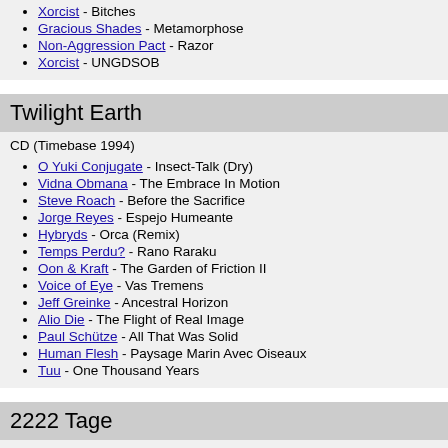Xorcist - Bitches
Gracious Shades - Metamorphose
Non-Aggression Pact - Razor
Xorcist - UNGDSOB
Twilight Earth
CD (Timebase 1994)
O Yuki Conjugate - Insect-Talk (Dry)
Vidna Obmana - The Embrace In Motion
Steve Roach - Before the Sacrifice
Jorge Reyes - Espejo Humeante
Hybryds - Orca (Remix)
Temps Perdu? - Rano Raraku
Oon & Kraft - The Garden of Friction II
Voice of Eye - Vas Tremens
Jeff Greinke - Ancestral Horizon
Alio Die - The Flight of Real Image
Paul Schütze - All That Was Solid
Human Flesh - Paysage Marin Avec Oiseaux
Tuu - One Thousand Years
2222 Tage
CD (Dion Fortune 1997)
The Garden Of Delight - Leviathan
The Garden Of Delight - Spiral Dance